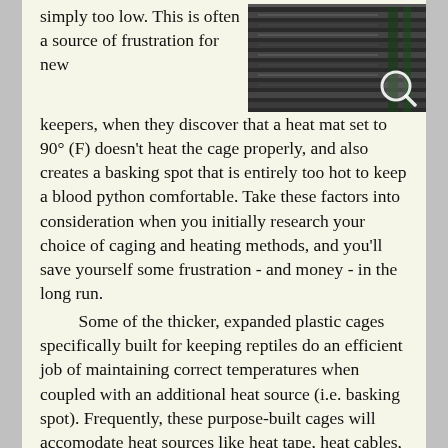[Figure (photo): Photograph of what appears to be a heat mat or radiant heating panel with metal fins/tubes, viewed from above. A small magnifying glass icon is overlaid in the lower-right corner of the image.]
simply too low. This is often a source of frustration for new keepers, when they discover that a heat mat set to 90° (F) doesn't heat the cage properly, and also creates a basking spot that is entirely too hot to keep a blood python comfortable. Take these factors into consideration when you initially research your choice of caging and heating methods, and you'll save yourself some frustration - and money - in the long run.
    Some of the thicker, expanded plastic cages specifically built for keeping reptiles do an efficient job of maintaining correct temperatures when coupled with an additional heat source (i.e. basking spot). Frequently, these purpose-built cages will accomodate heat sources like heat tape, heat cables, or radiant heat panels, which can be controlled with a thermostat or dimmer to create optimal temperatures for your blood or short-tailed